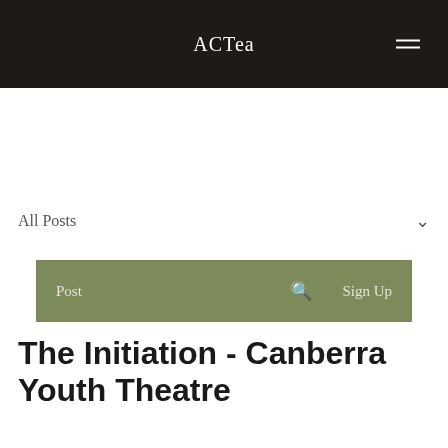ACTea
Post    Sign Up
All Posts
John Lombard  Jun 18 · 1 min
The Initiation - Canberra Youth Theatre